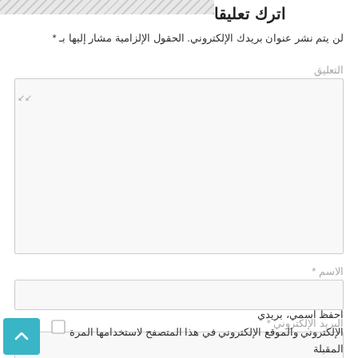اترك تعليقا
لن يتم نشر عنوان بريدك الإلكتروني. الحقول الإلزامية مشار إليها بـ *
التعليق
[Figure (screenshot): Large textarea input box for comment entry, light gray background with border]
الاسم *
[Figure (screenshot): Text input field for name, light gray background with border]
البريد الإلكتروني *
[Figure (screenshot): Text input field for email, light gray background with border]
الموقع الإلكتروني
احفظ اسمي، بريدي الإلكتروني والموقع الإلكتروني في هذا المتصفح لاستخدامها المرة المقبلة